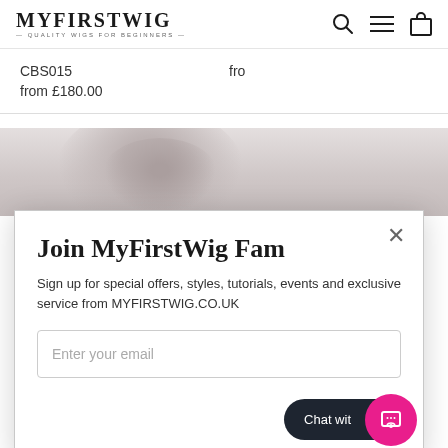MYFIRSTWIG — QUALITY WIGS FOR BEGINNERS —
CBS015
from £180.00
fro
[Figure (photo): Partial view of a person wearing a wig, muted gray/pink tones, cropped portrait]
Join MyFirstWig Fam
Sign up for special offers, styles, tutorials, events and exclusive service from MYFIRSTWIG.CO.UK
Enter your email
Chat wit